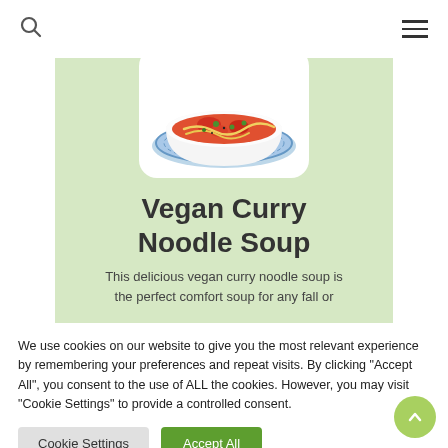Search | Menu
[Figure (photo): A bowl of vegan curry noodle soup on a blue patterned plate, showing red tomato broth with noodles and green herbs, on a light green card background]
Vegan Curry Noodle Soup
This delicious vegan curry noodle soup is the perfect comfort soup for any fall or
We use cookies on our website to give you the most relevant experience by remembering your preferences and repeat visits. By clicking "Accept All", you consent to the use of ALL the cookies. However, you may visit "Cookie Settings" to provide a controlled consent.
Cookie Settings | Accept All